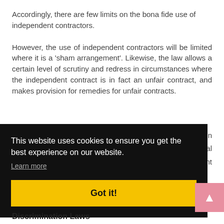Accordingly, there are few limits on the bona fide use of independent contractors.
However, the use of independent contractors will be limited where it is a ‘sham arrangement’. Likewise, the law allows a certain level of scrutiny and redress in circumstances where the independent contract is in fact an unfair contract, and makes provision for remedies for unfair contracts.
This website uses cookies to ensure you get the best experience on our website.
Learn more
Got it!
as in tional ndent
Discrimination Laws